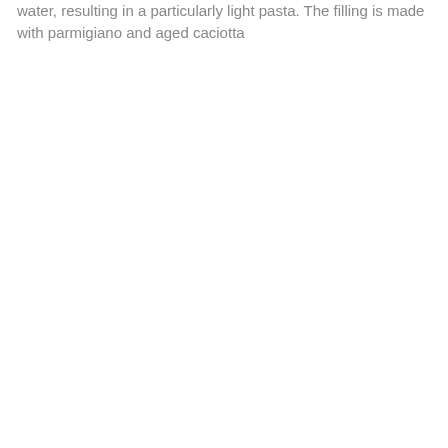water, resulting in a particularly light pasta. The filling is made with parmigiano and aged caciotta